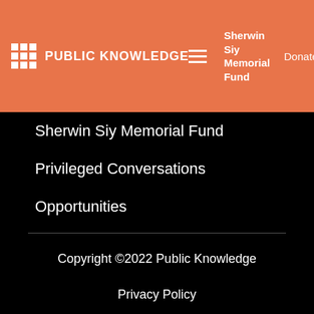PUBLIC KNOWLEDGE — Sherwin Siy Memorial Fund | Donate
Sherwin Siy Memorial Fund
Privileged Conversations
Opportunities
Copyright ©2022 Public Knowledge
Privacy Policy